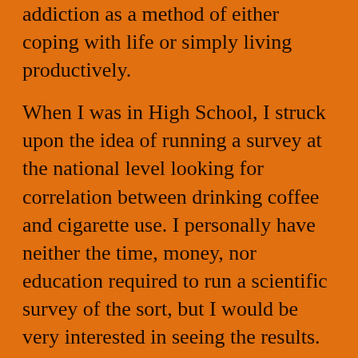addiction as a method of either coping with life or simply living productively.
When I was in High School, I struck upon the idea of running a survey at the national level looking for correlation between drinking coffee and cigarette use. I personally have neither the time, money, nor education required to run a scientific survey of the sort, but I would be very interested in seeing the results.
The core mentality that I am putting under the microscope here is analyzing what the people of the U.S. consider as “healthy” addictions. For example, coffee. Caffeine is the simplest and most wide-spread addiction of our time,